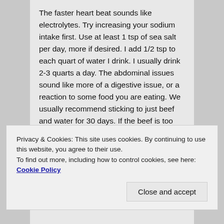The faster heart beat sounds like electrolytes. Try increasing your sodium intake first. Use at least 1 tsp of sea salt per day, more if desired. I add 1/2 tsp to each quart of water I drink. I usually drink 2-3 quarts a day. The abdominal issues sound like more of a digestive issue, or a reaction to some food you are eating. We usually recommend sticking to just beef and water for 30 days. If the beef is too lean where you live, then you will need to add butter. Try this and see if it makes any difference.
Privacy & Cookies: This site uses cookies. By continuing to use this website, you agree to their use. To find out more, including how to control cookies, see here: Cookie Policy